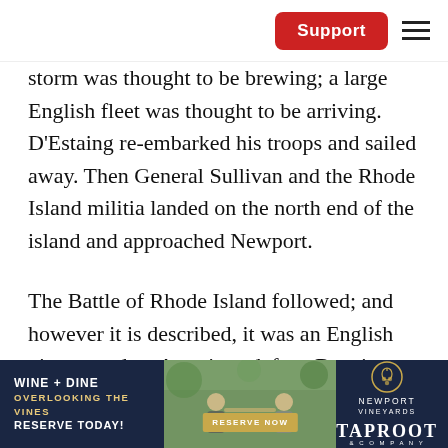Support [hamburger menu]
storm was thought to be brewing; a large English fleet was thought to be arriving. D'Estaing re-embarked his troops and sailed away. Then General Sullivan and the Rhode Island militia landed on the north end of the island and approached Newport.
The Battle of Rhode Island followed; and however it is described, it was an English victory and an American defeat. But since no one likes to admit that failure is h
[Figure (photo): Advertisement banner for Newport Vineyards and Taproot. Text reads: WINE + DINE / OVERLOOKING THE VINES / RESERVE TODAY! with a photo of people dining outdoors and a RESERVE NOW button. Newport Vineyards and Taproot logos on the right.]